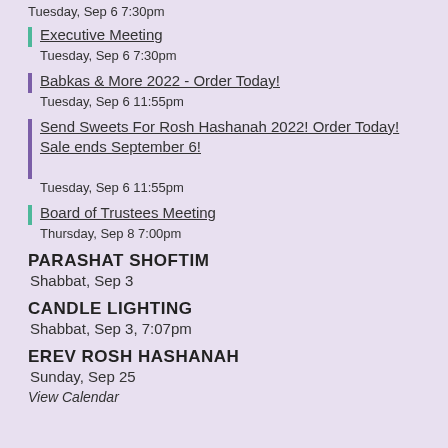Tuesday, Sep 6 7:30pm
Executive Meeting
Tuesday, Sep 6 7:30pm
Babkas & More 2022 - Order Today!
Tuesday, Sep 6 11:55pm
Send Sweets For Rosh Hashanah 2022! Order Today! Sale ends September 6!
Tuesday, Sep 6 11:55pm
Board of Trustees Meeting
Thursday, Sep 8 7:00pm
PARASHAT SHOFTIM
Shabbat, Sep 3
CANDLE LIGHTING
Shabbat, Sep 3, 7:07pm
EREV ROSH HASHANAH
Sunday, Sep 25
View Calendar